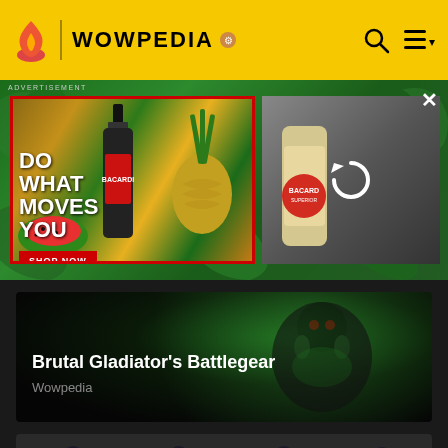WOWPEDIA
[Figure (screenshot): Advertisement banner: Bacardi rum with tropical fruits (pineapples, watermelons, mangoes) and text 'DO WHAT MOVES YOU' with 'SHOP NOW' button, plus a secondary blurred Bacardi can image with reload icon]
[Figure (photo): Dark World of Warcraft game screenshot showing a demonic character with green glow effects - Brutal Gladiator's Battlegear article header]
Brutal Gladiator's Battlegear
Wowpedia
[Figure (screenshot): Bottom gallery showing World of Warcraft armored character models in dark gear with blue glowing details, multiple views/variants]